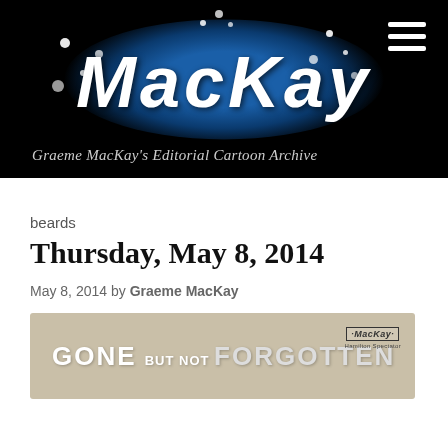[Figure (logo): MacKay editorial cartoon archive logo banner — white handwritten-style 'MacKay' text on a blue glow against a black background, with decorative white dots and a hamburger menu icon top right. Subtitle: Graeme MacKay's Editorial Cartoon Archive]
beards
Thursday, May 8, 2014
May 8, 2014 by Graeme MacKay
[Figure (illustration): Partial view of an editorial cartoon with text 'GONE BUT NOT FORGOTTEN' on a tan/beige background, with a small MacKay signature logo in the top right corner]